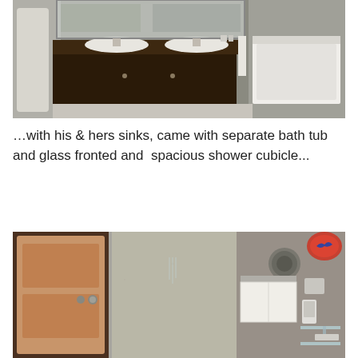[Figure (photo): Hotel bathroom interior showing his & hers sinks with dark wood vanity, white sink basins, mirror, and a separate bath tub on the right side. Stone/concrete textured walls.]
…with his & hers sinks, came with separate bath tub and glass fronted and  spacious shower cubicle...
[Figure (photo): Hotel bathroom showing wooden door, glass-fronted spacious shower cubicle with rainfall shower, concrete textured walls, white towels on rack, telephone, and glass shelf. Small logo visible in top right corner.]